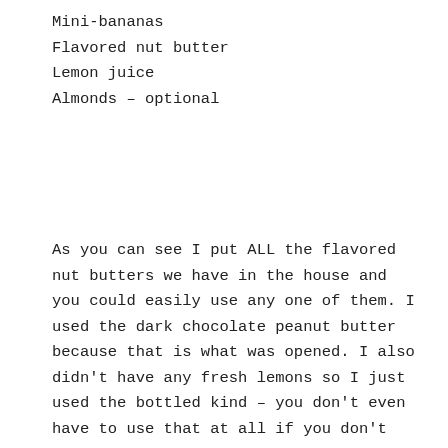Mini-bananas
Flavored nut butter
Lemon juice
Almonds – optional
As you can see I put ALL the flavored nut butters we have in the house and you could easily use any one of them. I used the dark chocolate peanut butter because that is what was opened. I also didn't have any fresh lemons so I just used the bottled kind – you don't even have to use that at all if you don't care to. First I chopped up the almonds.